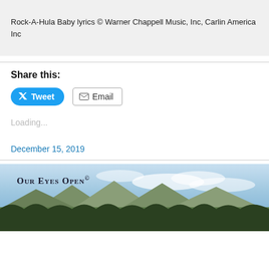Rock-A-Hula Baby lyrics © Warner Chappell Music, Inc, Carlin America Inc
Share this:
[Figure (other): Tweet button (blue rounded) and Email button (outlined)]
Loading...
December 15, 2019
[Figure (photo): Mountain landscape with blue sky and clouds, with 'Our Eyes Open©' logo overlay]